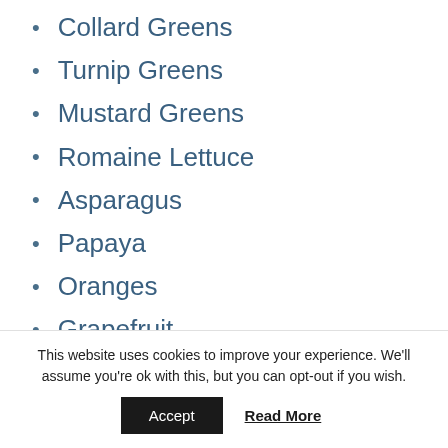Collard Greens
Turnip Greens
Mustard Greens
Romaine Lettuce
Asparagus
Papaya
Oranges
Grapefruit
Strawberries
This website uses cookies to improve your experience. We'll assume you're ok with this, but you can opt-out if you wish.
Accept  Read More